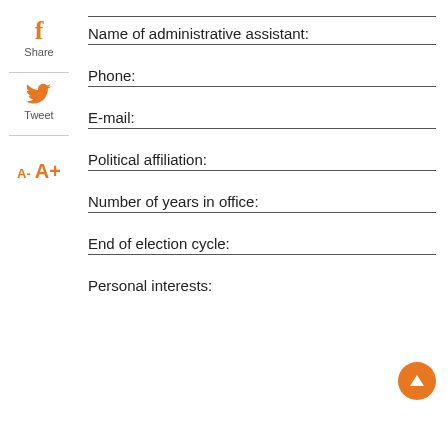[Figure (illustration): Facebook share icon (orange 'f') with 'Share' label below]
Name of administrative assistant:
[Figure (illustration): Twitter tweet icon (orange bird) with 'Tweet' label below]
Phone:
[Figure (illustration): Font size controls: A- and A+ in orange]
E-mail:
Political affiliation:
Number of years in office:
End of election cycle:
[Figure (illustration): Orange circular back-to-top button with upward arrow]
Personal interests: